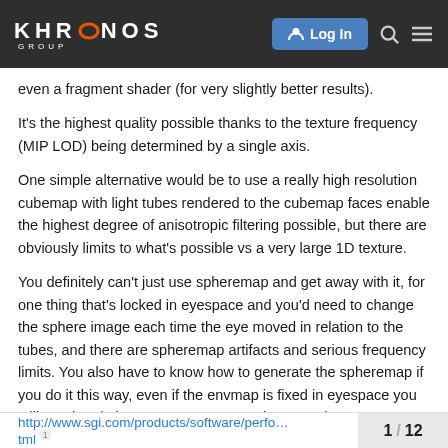KHRONOS GROUP — Log In
even a fragment shader (for very slightly better results).
It's the highest quality possible thanks to the texture frequency (MIP LOD) being determined by a single axis.
One simple alternative would be to use a really high resolution cubemap with light tubes rendered to the cubemap faces enable the highest degree of anisotropic filtering possible, but there are obviously limits to what's possible vs a very large 1D texture.
You definitely can't just use spheremap and get away with it, for one thing that's locked in eyespace and you'd need to change the sphere image each time the eye moved in relation to the tubes, and there are spheremap artifacts and serious frequency limits. You also have to know how to generate the spheremap if you do it this way, even if the envmap is fixed in eyespace you still need to do it once. I generate a spheremap here:
http://www.sgi.com/products/software/perfo…tml  1 / 12